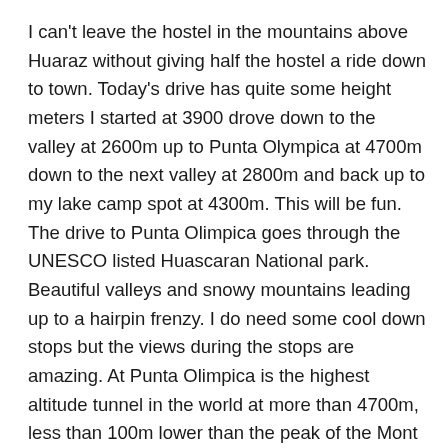I can't leave the hostel in the mountains above Huaraz without giving half the hostel a ride down to town. Today's drive has quite some height meters I started at 3900 drove down to the valley at 2600m up to Punta Olympica at 4700m down to the next valley at 2800m and back up to my lake camp spot at 4300m. This will be fun. The drive to Punta Olimpica goes through the UNESCO listed Huascaran National park. Beautiful valleys and snowy mountains leading up to a hairpin frenzy. I do need some cool down stops but the views during the stops are amazing. At Punta Olimpica is the highest altitude tunnel in the world at more than 4700m, less than 100m lower than the peak of the Mont Blanc. With 1.5km it is also the longest tunnel in Peru. The road on the way up is nicely paved but after the tunnel the road gets bad quickly. The drive is still great going through the tiniest little remote Peruvian towns where I have to evade all the dogs, pigs and other animals on the road. Multiple times local women and their three sheep want to hitch a ride, but I'll have to decline. From